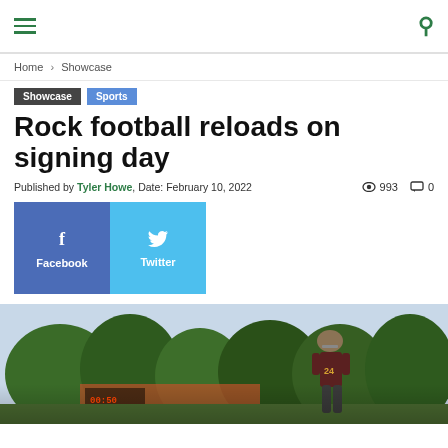Navigation header with hamburger menu and search icon
Home › Showcase
Showcase  Sports
Rock football reloads on signing day
Published by Tyler Howe, Date: February 10, 2022   993   0
[Figure (screenshot): Social share buttons: Facebook (blue) and Twitter (light blue) with icons and labels]
[Figure (photo): Outdoor football scene with trees and a player wearing number 24 jersey and helmet, viewed from behind]